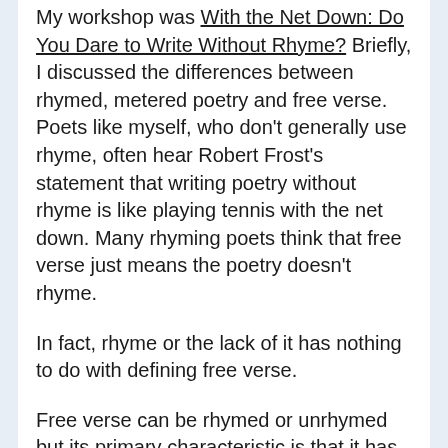My workshop was With the Net Down: Do You Dare to Write Without Rhyme? Briefly, I discussed the differences between rhymed, metered poetry and free verse. Poets like myself, who don't generally use rhyme, often hear Robert Frost's statement that writing poetry without rhyme is like playing tennis with the net down. Many rhyming poets think that free verse just means the poetry doesn't rhyme.
In fact, rhyme or the lack of it has nothing to do with defining free verse.
Free verse can be rhymed or unrhymed but its primary characteristic is that it has no set meter.
No set meter. That's not the same as having no meter at all.
Here's a fine and familiar free verse poem: